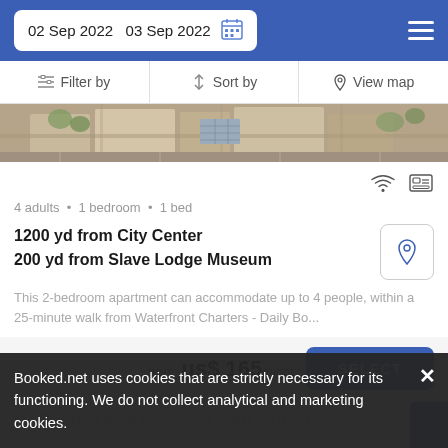02 Sep 2022   03 Sep 2022
Filter by   Sort by   View map
[Figure (photo): Aerial view of Cape Town city streets and buildings]
4 adults • 1 bedroom • 1 bed
1200 yd from City Center
200 yd from Slave Lodge Museum
This 2-bedroom apartment can accommodate up to 4 people, within a 25-minute walk from Waterfront Charters - Daily Bo...
from us$ 165/night SELECT
Booked.net uses cookies that are strictly necessary for its functioning. We do not collect analytical and marketing cookies.